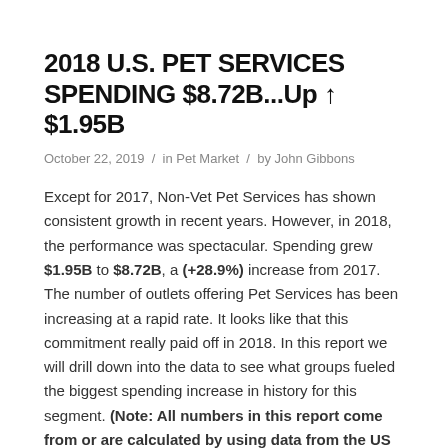2018 U.S. PET SERVICES SPENDING $8.72B...Up ↑ $1.95B
October 22, 2019 / in Pet Market / by John Gibbons
Except for 2017, Non-Vet Pet Services has shown consistent growth in recent years. However, in 2018, the performance was spectacular. Spending grew $1.95B to $8.72B, a (+28.9%) increase from 2017. The number of outlets offering Pet Services has been increasing at a rapid rate. It looks like that this commitment really paid off in 2018. In this report we will drill down into the data to see what groups fueled the biggest spending increase in history for this segment. (Note: All numbers in this report come from or are calculated by using data from the US BLS Consumer Expenditure Surveys)
Services' Spending per CU in 2018 was $66.36, up from $52.06